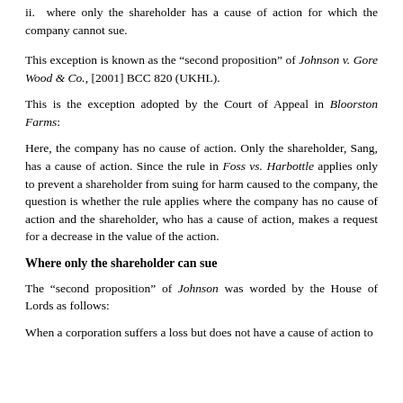ii.  where only the shareholder has a cause of action for which the company cannot sue.
This exception is known as the “second proposition” of Johnson v. Gore Wood & Co., [2001] BCC 820 (UKHL).
This is the exception adopted by the Court of Appeal in Bloorston Farms:
Here, the company has no cause of action. Only the shareholder, Sang, has a cause of action. Since the rule in Foss vs. Harbottle applies only to prevent a shareholder from suing for harm caused to the company, the question is whether the rule applies where the company has no cause of action and the shareholder, who has a cause of action, makes a request for a decrease in the value of the action.
Where only the shareholder can sue
The “second proposition” of Johnson was worded by the House of Lords as follows:
When a corporation suffers a loss but does not have a cause of action to